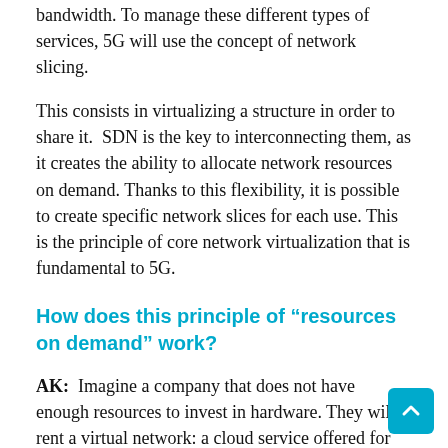bandwidth. To manage these different types of services, 5G will use the concept of network slicing.
This consists in virtualizing a structure in order to share it.  SDN is the key to interconnecting them, as it creates the ability to allocate network resources on demand. Thanks to this flexibility, it is possible to create specific network slices for each use. This is the principle of core network virtualization that is fundamental to 5G.
How does this principle of “resources on demand” work?
AK:  Imagine a company that does not have enough resources to invest in hardware. They will rent a virtual network: a cloud service offered for example by Amazon, requesting resources defined according to their needs. It could be a laboratory that wants to run simulations but does not have the computing capacity. They would use a cloud operator who will run these simulations for them. Storage capacity, computing power, bandwidth, or